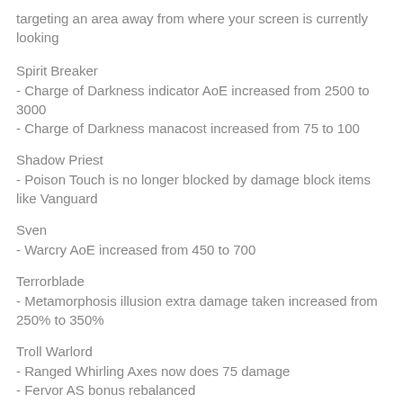targeting an area away from where your screen is currently looking
Spirit Breaker
- Charge of Darkness indicator AoE increased from 2500 to 3000
- Charge of Darkness manacost increased from 75 to 100
Shadow Priest
- Poison Touch is no longer blocked by damage block items like Vanguard
Sven
- Warcry AoE increased from 450 to 700
Terrorblade
- Metamorphosis illusion extra damage taken increased from 250% to 350%
Troll Warlord
- Ranged Whirling Axes now does 75 damage
- Fervor AS bonus rebalanced